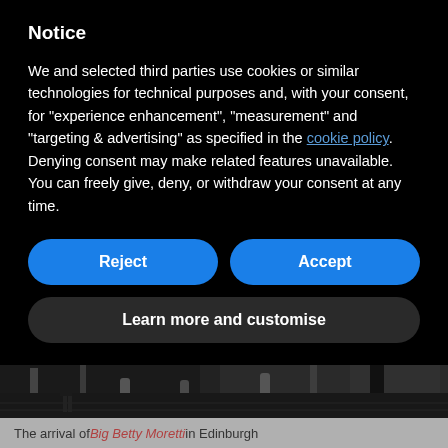Notice
We and selected third parties use cookies or similar technologies for technical purposes and, with your consent, for "experience enhancement", "measurement" and "targeting & advertising" as specified in the cookie policy. Denying consent may make related features unavailable.
You can freely give, deny, or withdraw your consent at any time.
Reject
Accept
Learn more and customise
[Figure (photo): Black and white street photograph showing people arriving, bollards and street scene]
The arrival of Big Betty Moretti in Edinburgh